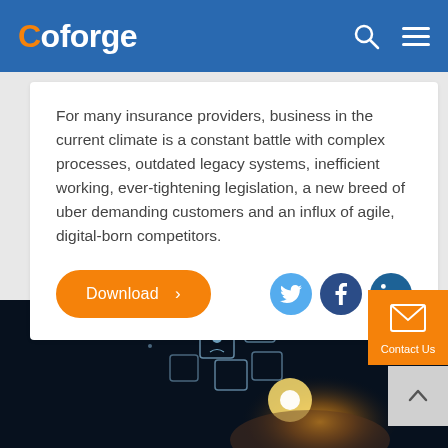Coforge
For many insurance providers, business in the current climate is a constant battle with complex processes, outdated legacy systems, inefficient working, ever-tightening legislation, a new breed of uber demanding customers and an influx of agile, digital-born competitors.
[Figure (screenshot): Download button with orange rounded border and social media icons (Twitter, Facebook, LinkedIn)]
[Figure (photo): Dark technology photo showing glowing digital icons floating above a hand, representing digital transformation]